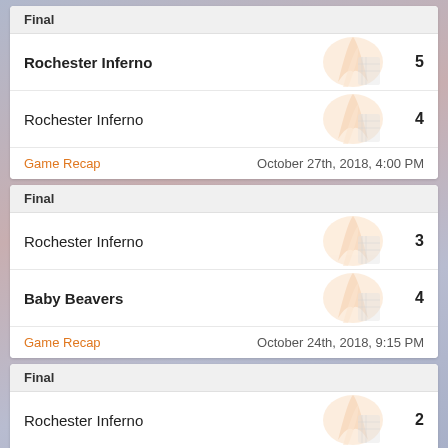| Team | Score |
| --- | --- |
| Rochester Inferno | 5 |
| Rochester Inferno | 4 |
| Team | Score |
| --- | --- |
| Rochester Inferno | 3 |
| Baby Beavers | 4 |
| Team | Score |
| --- | --- |
| Rochester Inferno | 2 |
| District 5 | 5 |